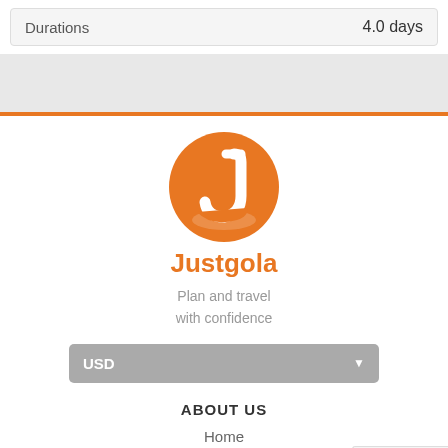| Durations |  |
| --- | --- |
| Durations | 4.0 days |
[Figure (logo): Justgola orange circular logo with a stylized J arrow mark]
Justgola
Plan and travel
with confidence
USD
ABOUT US
Home
About
Recruitment
↑ Scroll to top